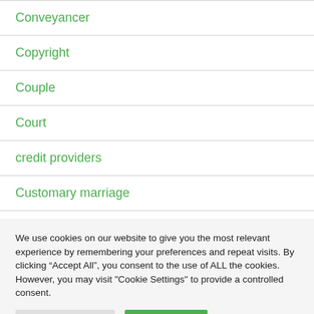Conveyancer
Copyright
Couple
Court
credit providers
Customary marriage
Death
We use cookies on our website to give you the most relevant experience by remembering your preferences and repeat visits. By clicking “Accept All”, you consent to the use of ALL the cookies. However, you may visit "Cookie Settings" to provide a controlled consent.